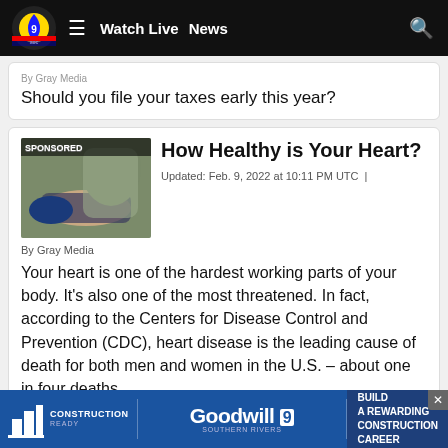Watch Live  News
Should you file your taxes early this year?
How Healthy is Your Heart?
SPONSORED
Updated: Feb. 9, 2022 at 10:11 PM UTC  |
By Gray Media
Your heart is one of the hardest working parts of your body. It's also one of the most threatened. In fact, according to the Centers for Disease Control and Prevention (CDC), heart disease is the leading cause of death for both men and women in the U.S. – about one in four deaths.
[Figure (screenshot): Partial view of a third sponsored article card at the bottom of the page, partially covered by an advertisement banner.]
[Figure (infographic): Advertisement banner for Goodwill Southern Rivers and Construction Ready. Text reads: BUILD A REWARDING CONSTRUCTION CAREER.]